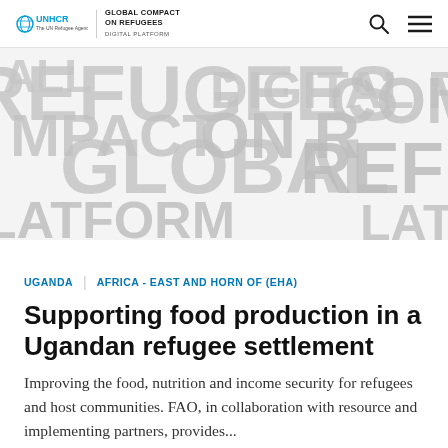UNHCR | GLOBAL COMPACT ON REFUGEES DIGITAL PLATFORM
[Figure (illustration): Decorative background image with large overlapping text words: REFUGEES, GLOBAL COMPACT, DIGITAL PLATFORM, in grey tones on a white/light background]
UGANDA | AFRICA - EAST AND HORN OF (EHA)
Supporting food production in a Ugandan refugee settlement
Improving the food, nutrition and income security for refugees and host communities. FAO, in collaboration with resource and implementing partners, provides...